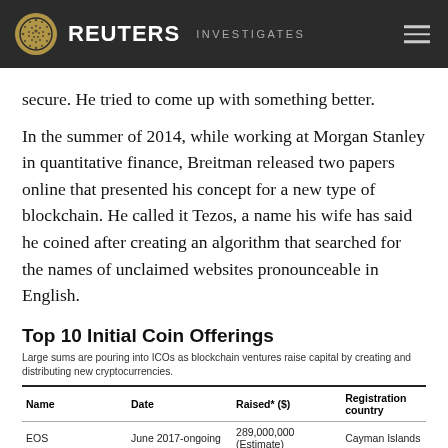REUTERS INVESTIGATES
secure. He tried to come up with something better.
In the summer of 2014, while working at Morgan Stanley in quantitative finance, Breitman released two papers online that presented his concept for a new type of blockchain. He called it Tezos, a name his wife has said he coined after creating an algorithm that searched for the names of unclaimed websites pronounceable in English.
Top 10 Initial Coin Offerings
Large sums are pouring into ICOs as blockchain ventures raise capital by creating and distributing new cryptocurrencies.
| Name | Date | Raised* ($) | Registration country |
| --- | --- | --- | --- |
| EOS | June 2017-ongoing | 289,000,000 (Estimate) | Cayman Islands |
| Filecoin | August-September, 2017 | 233,000,000 | USA |
| Tezos | July 2017 | 232,319,985 | Switzerland |
| Bancor Protocol | June 2017 | 153,000,000 | Switzerland |
| Kik | August/September, 2017 | 100,000,000 | Canada |
| Status | June 2017 | 95,000,000 | Switzerland |
| TenX | June 2017 | 83,110,000 | Singapore |